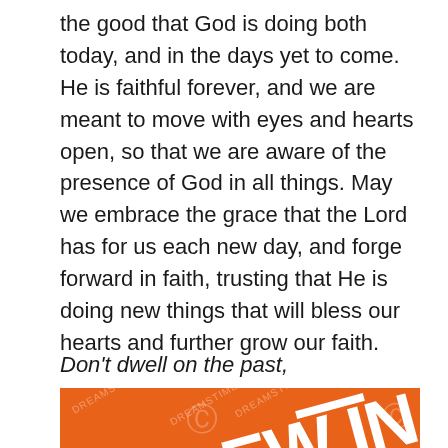the good that God is doing both today, and in the days yet to come. He is faithful forever, and we are meant to move with eyes and hearts open, so that we are aware of the presence of God in all things. May we embrace the grace that the Lord has for us each new day, and forge forward in faith, trusting that He is doing new things that will bless our hearts and further grow our faith.
Don't dwell on the past,
[Figure (illustration): Orange background image with white diagonal text and decorative elements including spiral watermarks and the text 'EW IN']